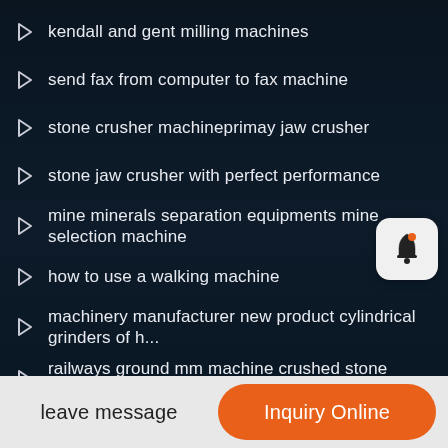kendall and gent milling machines
send fax from computer to fax machine
stone crusher machineprimay jaw crusher
stone jaw crusher with perfect performance
mine minerals separation equipments mine selection machine
how to use a walking machine
machinery manufacturer new product cylindrical grinders of h...
railways ground mm machine crushed stone ballast
new products concrete mixer truck for sale block making mac...
rollomatic grinding machine
leave message
Inquiry Online